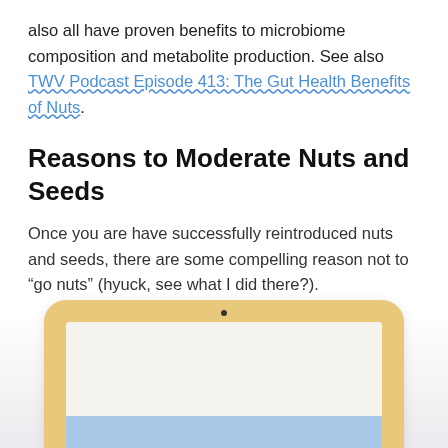also all have proven benefits to microbiome composition and metabolite production. See also TWV Podcast Episode 413: The Gut Health Benefits of Nuts.
Reasons to Moderate Nuts and Seeds
Once you are have successfully reintroduced nuts and seeds, there are some compelling reason not to “go nuts” (hyuck, see what I did there?).
[Figure (photo): Partial view of a tablet device (gold/champagne colored iPad-like device) showing a screen with a light beige background and a blue strip at the bottom, cropped at the lower portion of the page.]